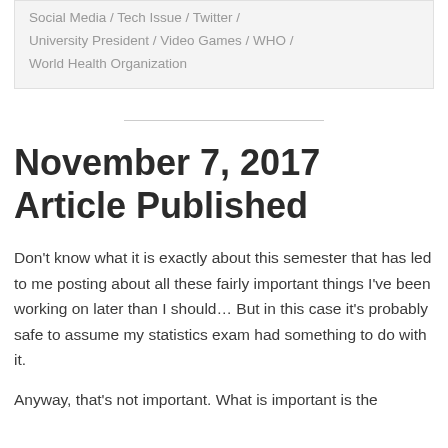Social Media / Tech Issue / Twitter / University President / Video Games / WHO / World Health Organization
November 7, 2017 Article Published
Don't know what it is exactly about this semester that has led to me posting about all these fairly important things I've been working on later than I should... But in this case it's probably safe to assume my statistics exam had something to do with it.
Anyway, that's not important. What is important is the